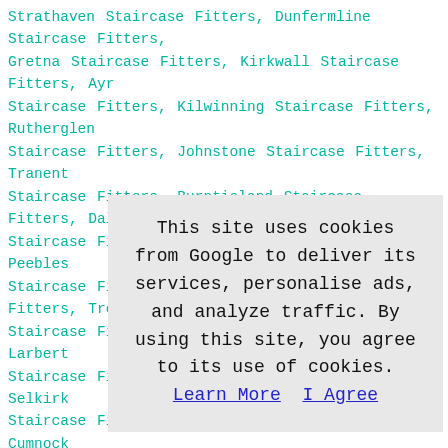Strathaven Staircase Fitters, Dunfermline Staircase Fitters, Gretna Staircase Fitters, Kirkwall Staircase Fitters, Ayr Staircase Fitters, Kilwinning Staircase Fitters, Rutherglen Staircase Fitters, Johnstone Staircase Fitters, Tranent Staircase Fitters, Burntisland Staircase Fitters, Dalkeith Staircase Fitters, Hawick Staircase Fitters, Peebles Staircase Fitters, Kirkintilloch Staircase Fitters, Troon Staircase Fitters, Buckhaven Staircase Fitters, Larbert Staircase Fitters, Jedburgh Staircase Fitters, Selkirk Staircase Fitters, Nairn Staircase Fitters, Cumnock Staircase Fitters, Tillicoultry Staircase Fitters, Penicuik Stai... Fitters, Carnoustie Staircase Fitters, Shotts Staircase Fitters,
This site uses cookies from Google to deliver its services, personalise ads, and analyze traffic. By using this site, you agree to its use of cookies. Learn More  I Agree